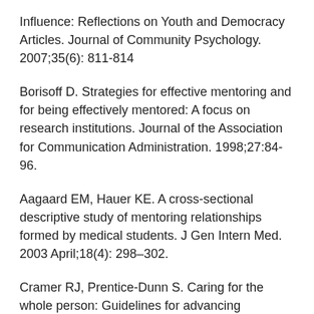Influence: Reflections on Youth and Democracy Articles. Journal of Community Psychology. 2007;35(6): 811-814
Borisoff D. Strategies for effective mentoring and for being effectively mentored: A focus on research institutions. Journal of the Association for Communication Administration. 1998;27:84-96.
Aagaard EM, Hauer KE. A cross-sectional descriptive study of mentoring relationships formed by medical students. J Gen Intern Med. 2003 April;18(4): 298–302.
Cramer RJ, Prentice-Dunn S. Caring for the whole person: Guidelines for advancing undergraduate mentorship. College Student Journal. 2007 Dec Part A;41(4):771-778. Full Text: PDF
About the Author
Whye Lian Cheah